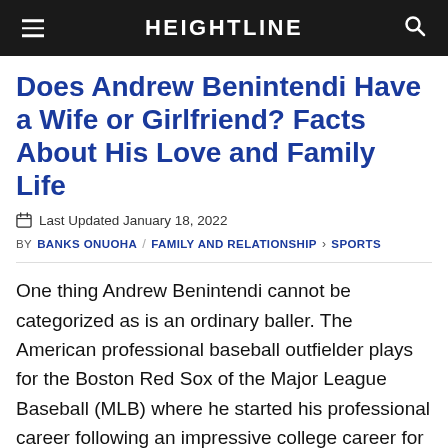HEIGHTLINE
Does Andrew Benintendi Have a Wife or Girlfriend? Facts About His Love and Family Life
Last Updated January 18, 2022
BY BANKS ONUOHA / FAMILY AND RELATIONSHIP > SPORTS
One thing Andrew Benintendi cannot be categorized as is an ordinary baller. The American professional baseball outfielder plays for the Boston Red Sox of the Major League Baseball (MLB) where he started his professional career following an impressive college career for the Arkansas Razorbacks of the